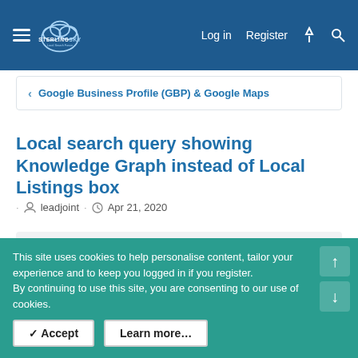Sterling Sky Local Search Forum — Log in  Register
Google Business Profile (GBP) & Google Maps
Local search query showing Knowledge Graph instead of Local Listings box
leadjoint · Apr 21, 2020
leadjoint
Apr 21, 2020  #1
This site uses cookies to help personalise content, tailor your experience and to keep you logged in if you register.
By continuing to use this site, you are consenting to our use of cookies.